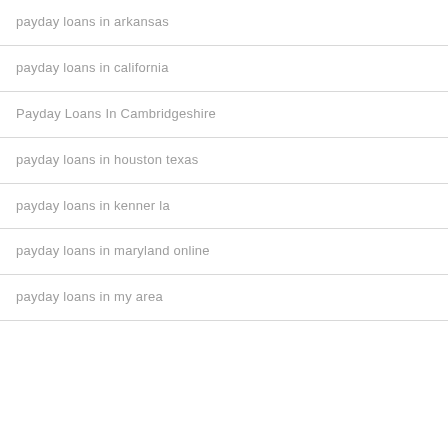payday loans in arkansas
payday loans in california
Payday Loans In Cambridgeshire
payday loans in houston texas
payday loans in kenner la
payday loans in maryland online
payday loans in my area